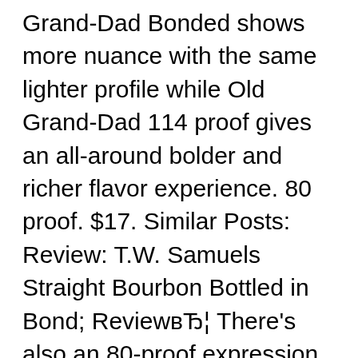Grand-Dad Bonded shows more nuance with the same lighter profile while Old Grand-Dad 114 proof gives an all-around bolder and richer flavor experience. 80 proof. $17. Similar Posts: Review: T.W. Samuels Straight Bourbon Bottled in Bond; ReviewвЂ¦ There's also an 80-proof expression of OGD, but bonded is the version you need. It's worth noting that the old grand-dad for whom the whiskey was named is none other than Basil Hayden, whose namesake small batch bourbon is apparently the same recipe as Old Grand-Dad, only with more water added and more time spent in barrels. Jim Beam Bonded Bourbon